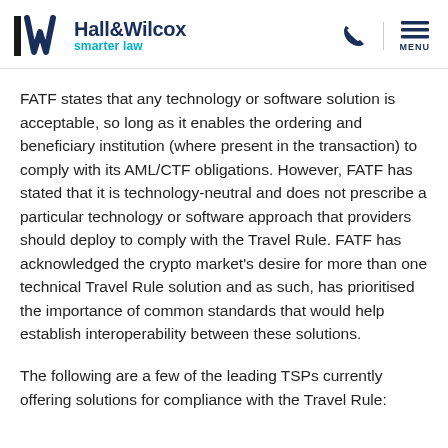Hall&Wilcox smarter law
FATF states that any technology or software solution is acceptable, so long as it enables the ordering and beneficiary institution (where present in the transaction) to comply with its AML/CTF obligations. However, FATF has stated that it is technology-neutral and does not prescribe a particular technology or software approach that providers should deploy to comply with the Travel Rule. FATF has acknowledged the crypto market's desire for more than one technical Travel Rule solution and as such, has prioritised the importance of common standards that would help establish interoperability between these solutions.
The following are a few of the leading TSPs currently offering solutions for compliance with the Travel Rule: